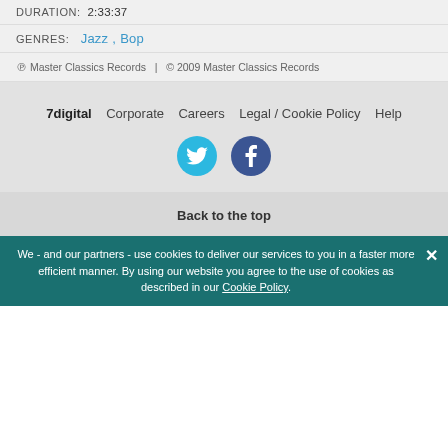DURATION: 2:33:37
GENRES: Jazz, Bop
℗ Master Classics Records | © 2009 Master Classics Records
7digital  Corporate  Careers  Legal / Cookie Policy  Help
[Figure (illustration): Twitter and Facebook social media icons as colored circles]
Back to the top
We - and our partners - use cookies to deliver our services to you in a faster more efficient manner. By using our website you agree to the use of cookies as described in our Cookie Policy.